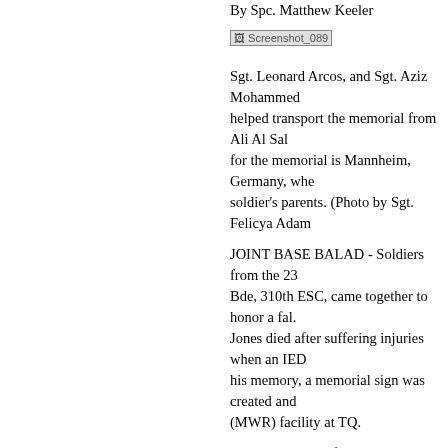By Spc. Matthew Keeler
[Figure (screenshot): Screenshot_089 image placeholder]
Sgt. Leonard Arcos, and Sgt. Aziz Mohammed helped transport the memorial from Ali Al Sal for the memorial is Mannheim, Germany, whe soldier's parents. (Photo by Sgt. Felicya Adam
JOINT BASE BALAD - Soldiers from the 23 Bde, 310th ESC, came together to honor a fal Jones died after suffering injuries when an IED his memory, a memorial sign was created and (MWR) facility at TQ.
In the last week of April 2011, Brig. Gen. Don Schroder, the comm. gen. and command sgt. m discolored, worn and weathered memorial sig and eventually his parents. "At that point, CSM working with the USF-I staff and others, to fin process of getting it restored and returned to t soldier, because he was before our time over h ours, and we owe it to him to treat him like or
"The memorial is a representation and a tribut comrades," said Schroder. "This one in particu weathered, and our idea when we got it was to and dust storms had worn away most of the co